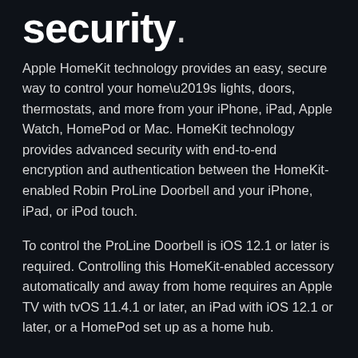security.
Apple HomeKit technology provides an easy, secure way to control your home’s lights, doors, thermostats, and more from your iPhone, iPad, Apple Watch, HomePod or Mac. HomeKit technology provides advanced security with end-to-end encryption and authentication between the HomeKit-enabled Robin ProLine Doorbell and your iPhone, iPad, or iPod touch.
To control the ProLine Doorbell is iOS 12.1 or later is required. Controlling this HomeKit-enabled accessory automatically and away from home requires an Apple TV with tvOS 11.4.1 or later, an iPad with iOS 12.1 or later, or a HomePod set up as a home hub.